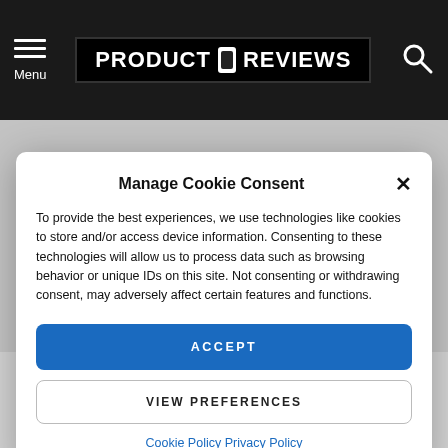PRODUCT REVIEWS — Menu header bar with logo and search icon
Manage Cookie Consent
To provide the best experiences, we use technologies like cookies to store and/or access device information. Consenting to these technologies will allow us to process data such as browsing behavior or unique IDs on this site. Not consenting or withdrawing consent, may adversely affect certain features and functions.
ACCEPT
VIEW PREFERENCES
Cookie Policy  Privacy Policy
The 100 new Wi-Fi hotspots that have been allocated to these properties are part of 200,000 sites which BT